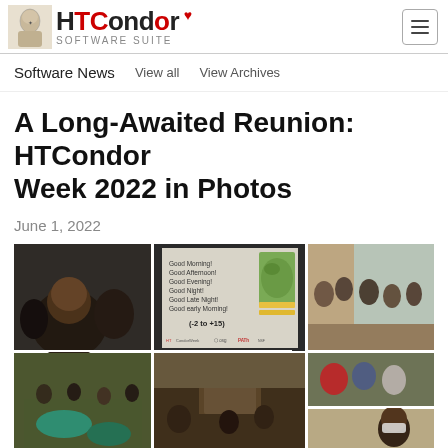HTCondor Software Suite
Software News   View all   View Archives
A Long-Awaited Reunion: HTCondor Week 2022 in Photos
June 1, 2022
[Figure (photo): Photo collage from HTCondor Week 2022 showing conference attendees, a presentation slide reading 'Good Morning! Good Afternoon! Good Evening! Good Night! Good Late Night! Good early Morning! (-2 to +15)' with a world map, networking events, and speakers at podiums. Logos for HTCondor, OSG, and PATh visible.]